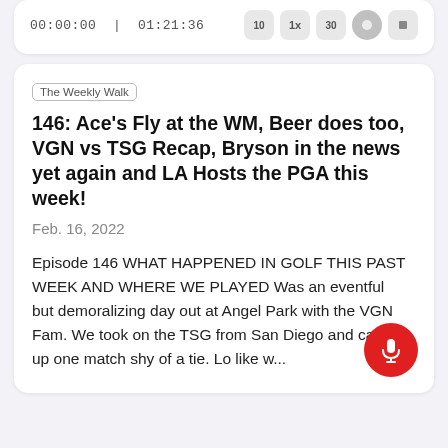00:00:00 | 01:21:36
146: Ace's Fly at the WM, Beer does too, VGN vs TSG Recap, Bryson in the news yet again and LA Hosts the PGA this week!
The Weekly Walk
Feb. 16, 2022
Episode 146 WHAT HAPPENED IN GOLF THIS PAST WEEK AND WHERE WE PLAYED Was an eventful but demoralizing day out at Angel Park with the VGN Fam. We took on the TSG from San Diego and came up one match shy of a tie. Lo like w...